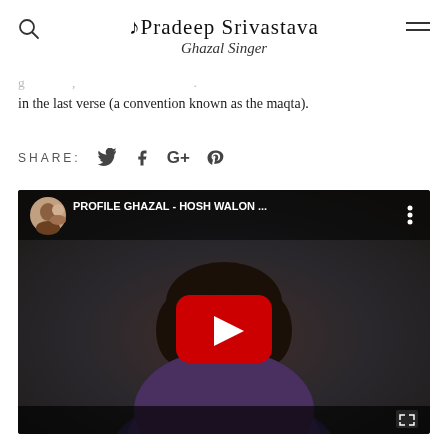Pradeep Srivastava Ghazal Singer
in the last verse (a convention known as the maqta).
SHARE:
[Figure (screenshot): YouTube video embed showing 'PROFILE GHAZAL - HOSH WALON ...' with a man singing at a microphone, YouTube play button overlay visible]